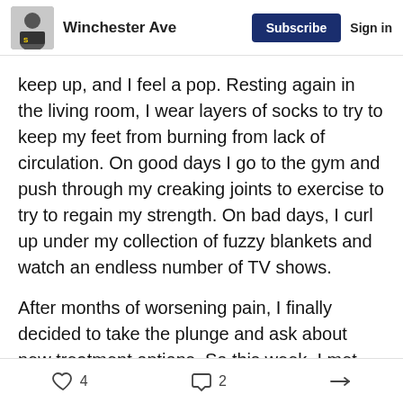Winchester Ave | Subscribe | Sign in
keep up, and I feel a pop. Resting again in the living room, I wear layers of socks to try to keep my feet from burning from lack of circulation. On good days I go to the gym and push through my creaking joints to exercise to try to regain my strength. On bad days, I curl up under my collection of fuzzy blankets and watch an endless number of TV shows.
After months of worsening pain, I finally decided to take the plunge and ask about new treatment options. So this week, I met my rheumatologist for our quarterly meeting to plan out my care. I've seen dozens of doctors over the course of my life, and Dr. Golden (as I
4 likes  2 comments  share